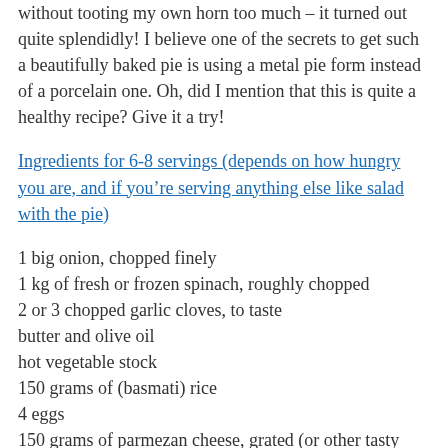without tooting my own horn too much – it turned out quite splendidly! I believe one of the secrets to get such a beautifully baked pie is using a metal pie form instead of a porcelain one. Oh, did I mention that this is quite a healthy recipe? Give it a try!
Ingredients for 6-8 servings (depends on how hungry you are, and if you're serving anything else like salad with the pie)
1 big onion, chopped finely
1 kg of fresh or frozen spinach, roughly chopped
2 or 3 chopped garlic cloves, to taste
butter and olive oil
hot vegetable stock
150 grams of (basmati) rice
4 eggs
150 grams of parmezan cheese, grated (or other tasty hard cheese)
breadcrumbs
grated nutmeg, pepper and salt to taste